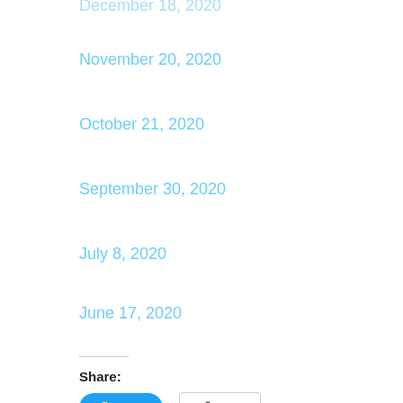December 18, 2020
November 20, 2020
October 21, 2020
September 30, 2020
July 8, 2020
June 17, 2020
Share:
Tweet  More
Like this:
Like
Be the first to like this.